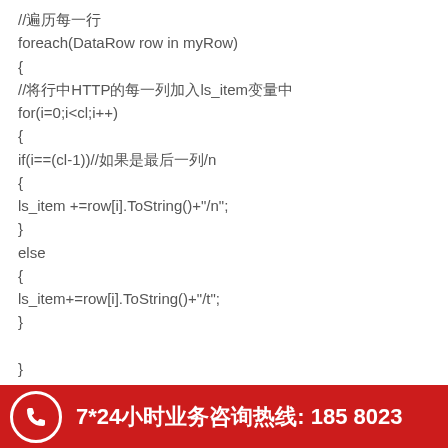//遍历每一行
foreach(DataRow row in myRow)
{
//将行中HTTP的每一列加入ls_item变量中
for(i=0;i<cl;i++)
{
if(i==(cl-1))//如果是最后一列/n
{
ls_item +=row[i].ToString()+"/n";
}
else
{
ls_item+=row[i].ToString()+"/t";
}

}
resp.Write(ls_item);
ls_item="";
7*24小时业务咨询热线: 185 8023